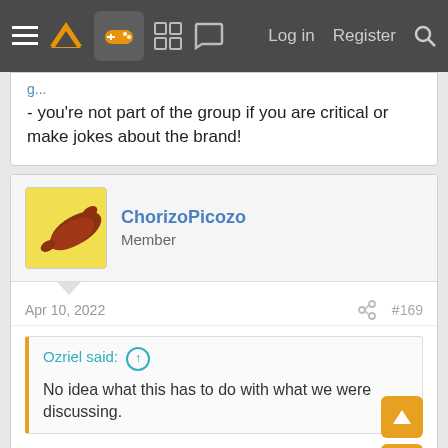Navigation bar with logo, gamepad icon, menu icons, Log in, Register, Search
- you're not part of the group if you are critical or make jokes about the brand!
ChorizoPicozo
Member
Apr 10, 2022  #169
Ozriel said: ↑
No idea what this has to do with what we were discussing.
Well, there you go. Context is important to have a more nuanced and wide perspective in any topic.

Just a refresher. Back in the second half of the 360 era, Xbox didn't invest in First Party Studios, instead, rely too much on